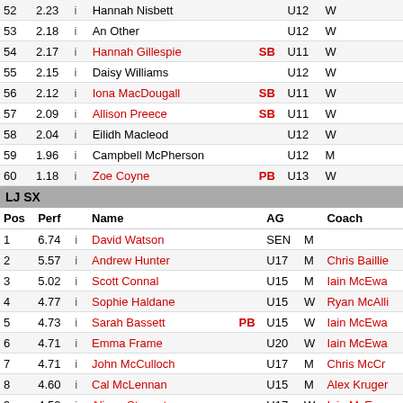| Pos | Perf |  | Name |  | AG |  | Coach |
| --- | --- | --- | --- | --- | --- | --- | --- |
| 52 | 2.23 | i | Hannah Nisbett |  | U12 | W |  |
| 53 | 2.18 | i | An Other |  | U12 | W |  |
| 54 | 2.17 | i | Hannah Gillespie | SB | U11 | W |  |
| 55 | 2.15 | i | Daisy Williams |  | U12 | W |  |
| 56 | 2.12 | i | Iona MacDougall | SB | U11 | W |  |
| 57 | 2.09 | i | Allison Preece | SB | U11 | W |  |
| 58 | 2.04 | i | Eilidh Macleod |  | U12 | W |  |
| 59 | 1.96 | i | Campbell McPherson |  | U12 | M |  |
| 60 | 1.18 | i | Zoe Coyne | PB | U13 | W |  |
LJ SX
| Pos | Perf |  | Name |  | AG |  | Coach |
| --- | --- | --- | --- | --- | --- | --- | --- |
| 1 | 6.74 | i | David Watson |  | SEN | M |  |
| 2 | 5.57 | i | Andrew Hunter |  | U17 | M | Chris Baillie |
| 3 | 5.02 | i | Scott Connal |  | U15 | M | Iain McEwa... |
| 4 | 4.77 | i | Sophie Haldane |  | U15 | W | Ryan McAlli... |
| 5 | 4.73 | i | Sarah Bassett | PB | U15 | W | Iain McEwa... |
| 6 | 4.71 | i | Emma Frame |  | U20 | W | Iain McEwa... |
| 7 | 4.71 | i | John McCulloch |  | U17 | M | Chris McCr... |
| 8 | 4.60 | i | Cal McLennan |  | U15 | M | Alex Kruger... |
| 9 | 4.52 | i | Alison Stewart |  | U17 | W | Iain McEwa... |
| 10 | 4.44 | i | Anna Forbes |  | U15 | W | Alan Forbes... |
| 11 | 4.42 | i | Emily Craig |  | U15 | W | Iain McEwa... |
| 12 | 4.42 | i | Sarah McDonald |  | U17 | W | Iain McEwa... |